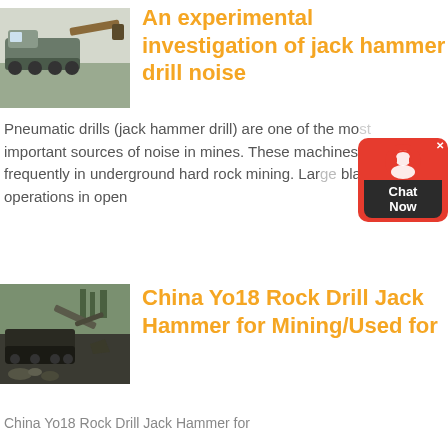[Figure (photo): Photo of a large pneumatic jack hammer drill machine on a track/crawler in a field or construction area]
An experimental investigation of jack hammer drill noise
Pneumatic drills (jack hammer drill) are one of the most important sources of noise in mines. These machines are used frequently in underground hard rock mining. Large blasting operations in open
[Figure (other): Chat Now support widget with red background and dark label]
[Figure (other): Contact button - dark navy rounded rectangle]
[Figure (photo): Photo of a mining excavator/rock drill jack hammer in operation at an open pit mine]
China Yo18 Rock Drill Jack Hammer for Mining/Used for
China Yo18 Rock Drill Jack Hammer for